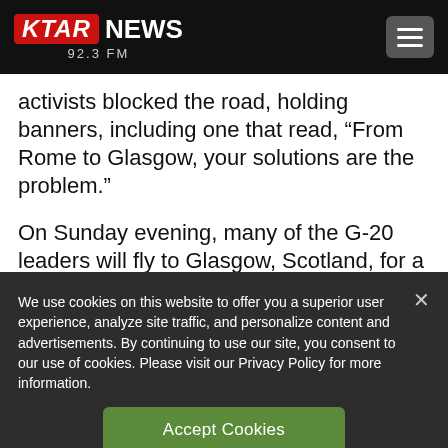[Figure (logo): KTAR NEWS 92.3 FM logo with red KTAR box and white NEWS text, plus hamburger menu button]
activists blocked the road, holding banners, including one that read, “From Rome to Glasgow, your solutions are the problem.”
On Sunday evening, many of the G-20 leaders will fly to Glasgow, Scotland, for a crucial
We use cookies on this website to offer you a superior user experience, analyze site traffic, and personalize content and advertisements. By continuing to use our site, you consent to our use of cookies. Please visit our Privacy Policy for more information.
Accept Cookies